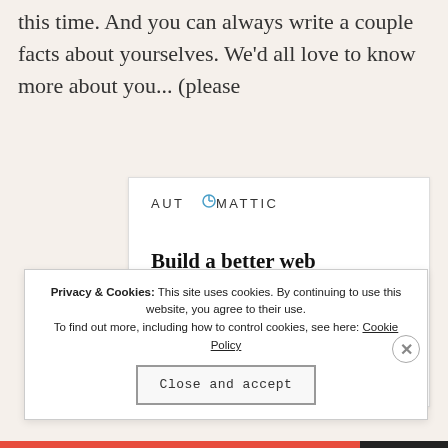this time. And you can always write a couple facts about yourselves. We'd all love to know more about you... (please
[Figure (screenshot): Automattic job advertisement banner with logo, headline 'Build a better web and a better world.' and an Apply button, with a photo of a person in a circular crop]
Privacy & Cookies: This site uses cookies. By continuing to use this website, you agree to their use.
To find out more, including how to control cookies, see here: Cookie Policy
Close and accept